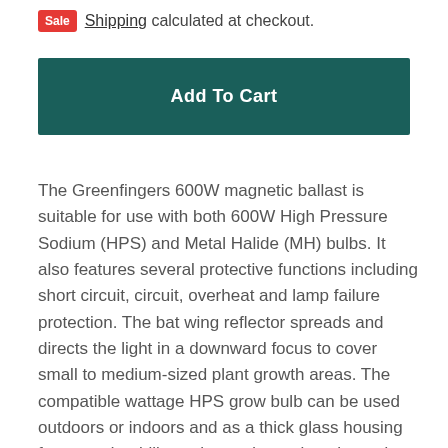Sale  Shipping calculated at checkout.
Add To Cart
The Greenfingers 600W magnetic ballast is suitable for use with both 600W High Pressure Sodium (HPS) and Metal Halide (MH) bulbs. It also features several protective functions including short circuit, circuit, overheat and lamp failure protection. The bat wing reflector spreads and directs the light in a downward focus to cover small to medium-sized plant growth areas. The compatible wattage HPS grow bulb can be used outdoors or indoors and as a thick glass housing for extra durability, enhanced wavelengths and lumen output power. The bulb is ideal for blooming and flowering and mainly produces a red spectrum that is perfect for germinating, flowering, and fruiting stages.